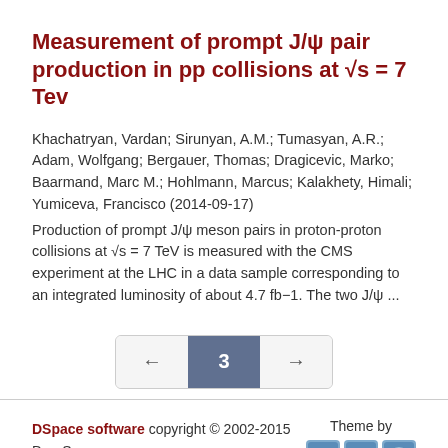Measurement of prompt J/ψ pair production in pp collisions at √s = 7 Tev
Khachatryan, Vardan; Sirunyan, A.M.; Tumasyan, A.R.; Adam, Wolfgang; Bergauer, Thomas; Dragicevic, Marko; Baarmand, Marc M.; Hohlmann, Marcus; Kalakhety, Himali; Yumiceva, Francisco (2014-09-17)
Production of prompt J/ψ meson pairs in proton-proton collisions at √s = 7 TeV is measured with the CMS experiment at the LHC in a data sample corresponding to an integrated luminosity of about 4.7 fb−1. The two J/ψ ...
[Figure (other): Pagination control showing back arrow, current page 3, forward arrow]
DSpace software copyright © 2002-2015  DuraSpace | Contact Us | Send Feedback | Theme by @MIRE